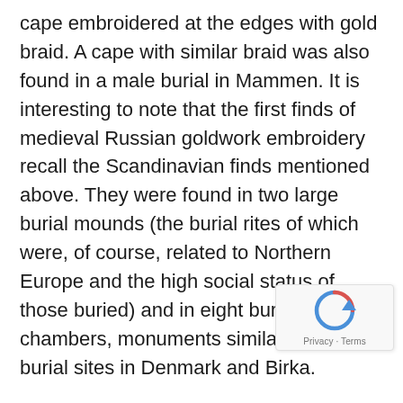cape embroidered at the edges with gold braid. A cape with similar braid was also found in a male burial in Mammen. It is interesting to note that the first finds of medieval Russian goldwork embroidery recall the Scandinavian finds mentioned above. They were found in two large burial mounds (the burial rites of which were, of course, related to Northern Europe and the high social status of those buried) and in eight burial chambers, monuments similar to the burial sites in Denmark and Birka.
According to M.V. Fekhner, the majority of silk fabrics were brought to the lands of Rus' from Byzantium or Spain. Indeed, the majority of medieval Russian headbands, collars, cuffs and capes decorated wi[th] thread may well have been imported. At the sam[e time,] many researchers believe that the significant nu[mber]